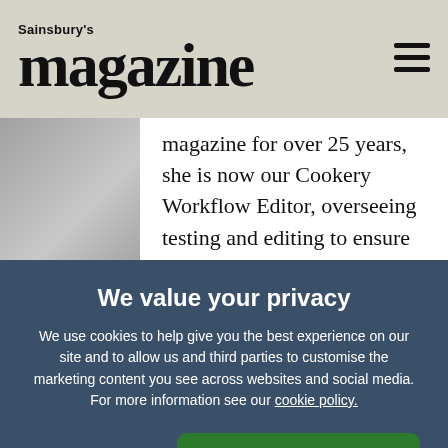Sainsbury's magazine
magazine for over 25 years, she is now our Cookery Workflow Editor, overseeing testing and editing to ensure that every recipe tastes great, is straightforward to follow and works without fail. In her home kitchen, Tamsin creates fuss-free
We value your privacy
We use cookies to help give you the best experience on our site and to allow us and third parties to customise the marketing content you see across websites and social media. For more information see our cookie policy.
Manage Preferences
Accept All Cookies